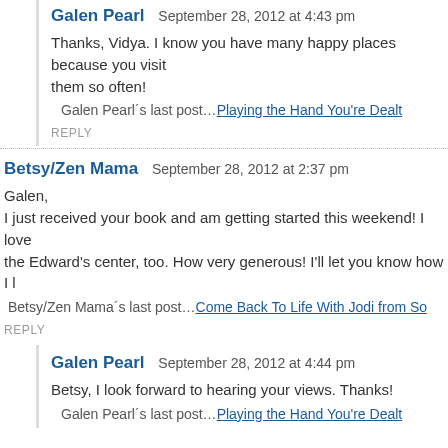Galen Pearl — September 28, 2012 at 4:43 pm
Thanks, Vidya. I know you have many happy places because you visit them so often!
Galen Pearl´s last post…Playing the Hand You're Dealt
REPLY
Betsy/Zen Mama — September 28, 2012 at 2:37 pm
Galen,
I just received your book and am getting started this weekend! I love the Edward's center, too. How very generous! I'll let you know how I l
Betsy/Zen Mama´s last post…Come Back To Life With Jodi from So
REPLY
Galen Pearl — September 28, 2012 at 4:44 pm
Betsy, I look forward to hearing your views. Thanks!
Galen Pearl´s last post…Playing the Hand You're Dealt